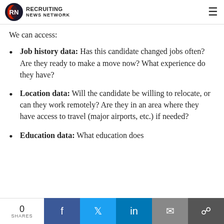RECRUITING NEWS NETWORK
We can access:
Job history data: Has this candidate changed jobs often? Are they ready to make a move now? What experience do they have?
Location data: Will the candidate be willing to relocate, or can they work remotely? Are they in an area where they have access to travel (major airports, etc.) if needed?
Education data: What education does
0 SHARES | f | t | in | mail | link